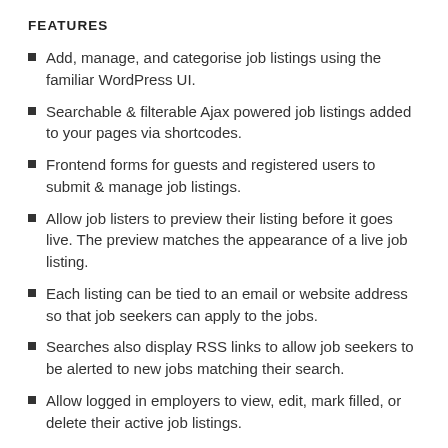FEATURES
Add, manage, and categorise job listings using the familiar WordPress UI.
Searchable & filterable Ajax powered job listings added to your pages via shortcodes.
Frontend forms for guests and registered users to submit & manage job listings.
Allow job listers to preview their listing before it goes live. The preview matches the appearance of a live job listing.
Each listing can be tied to an email or website address so that job seekers can apply to the jobs.
Searches also display RSS links to allow job seekers to be alerted to new jobs matching their search.
Allow logged in employers to view, edit, mark filled, or delete their active job listings.
Developer friendly code – Custom Post Types,